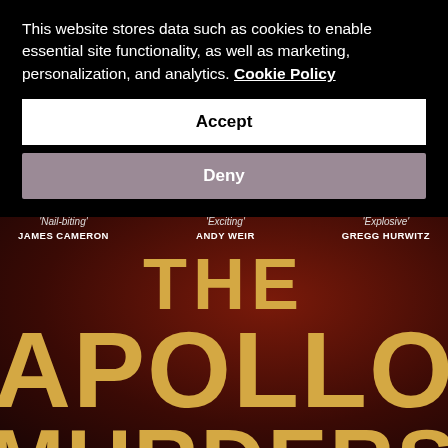This website stores data such as cookies to enable essential site functionality, as well as marketing, personalization, and analytics. Cookie Policy
Accept
Deny
[Figure (illustration): Book cover of 'The Apollo Murders' on a dark red background, with blurbs from James Cameron ('Nail-biting'), Andy Weir ('Exciting'), and Gregg Hurwitz ('Explosive'). Large gold serif text reads THE APOLLO MURDERS.]